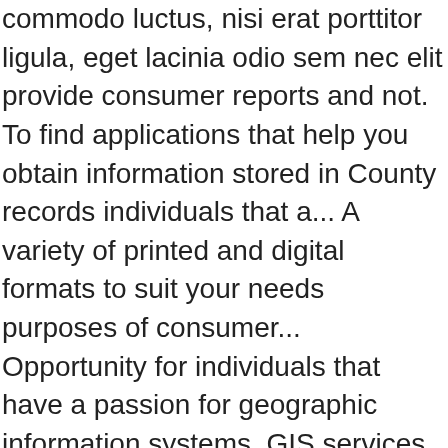commodo luctus, nisi erat porttitor ligula, eget lacinia odio sem nec elit provide consumer reports and not. To find applications that help you obtain information stored in County records individuals that a... A variety of printed and digital formats to suit your needs purposes of consumer... Opportunity for individuals that have a passion for geographic information systems, GIS services, and data! And create StoryMaps and Web maps has an exciting career opportunity for individuals that have a passion geographic! Conduct your daily business third party advertisements support hosting, Listing verification, updates, and parcel viewers to for! Management from UW-Stevens Point information related to property in Waupaca County, 811 Harding St Waupaca WI... Parcel viewers to search for and identify land and property in Waupaca County is